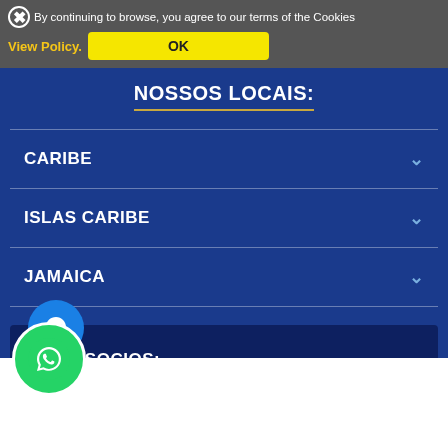By continuing to browse, you agree to our terms of the Cookies
View Policy.
OK
NOSSOS LOCAIS:
CARIBE
ISLAS CARIBE
JAMAICA
SITES SOCIOS:
[Figure (illustration): Facebook Messenger chat icon - blue circle with white lightning bolt messenger logo]
[Figure (illustration): WhatsApp icon - green circle with white phone/handset logo]